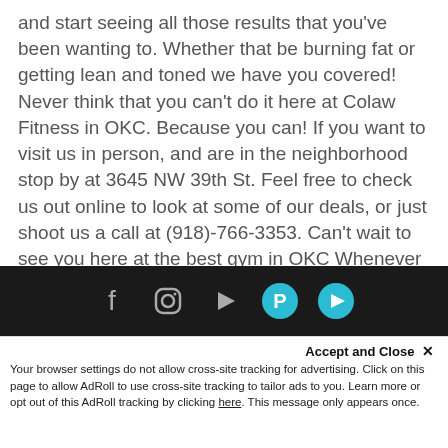and start seeing all those results that you've been wanting to. Whether that be burning fat or getting lean and toned we have you covered! Never think that you can't do it here at Colaw Fitness in OKC. Because you can! If you want to visit us in person, and are in the neighborhood stop by at 3645 NW 39th St. Feel free to check us out online to look at some of our deals, or just shoot us a call at (918)-766-3353. Can't wait to see you here at the best gym in OKC Whenever you stop by!
[Figure (infographic): Dark footer bar with social media icons: Facebook, Instagram, YouTube, Parler (teal circle), and another teal circle icon]
Accept and Close ✕
Your browser settings do not allow cross-site tracking for advertising. Click on this page to allow AdRoll to use cross-site tracking to tailor ads to you. Learn more or opt out of this AdRoll tracking by clicking here. This message only appears once.